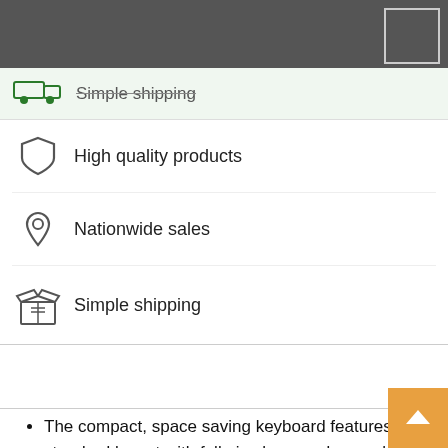[Figure (screenshot): Dark grey top navigation bar with a white outlined rectangle/button in the top right corner]
Simple shipping (banner text with strikethrough styling, green truck icon, light green background)
High quality products (shield icon)
Nationwide sales (location pin icon)
Simple shipping (box/package icon)
The compact, space saving keyboard features a standard layout with full-size keys and a number pad to keep you comfortable without taking up a lot of space
Liquid drains out of the keyboard, so you don?t have to worry about accidental spills.* (*Tested under limited conditions; max. 60 ml liquid spillage; do not immerse keyboard in liquid.)